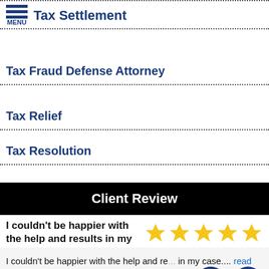Tax Settlement
Tax Fraud Defense Attorney
Tax Relief
Tax Resolution
Client Review
I couldn't be happier with the help and results in my case.
I couldn't be happier with the help and re... in my case.... read more